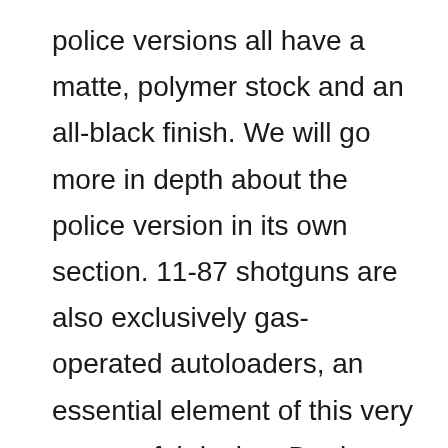police versions all have a matte, polymer stock and an all-black finish. We will go more in depth about the police version in its own section. 11-87 shotguns are also exclusively gas-operated autoloaders, an essential element of this very successful design. Dual bead sights, a vent rib, a one-piece two-pin trigger group, semi-automatic